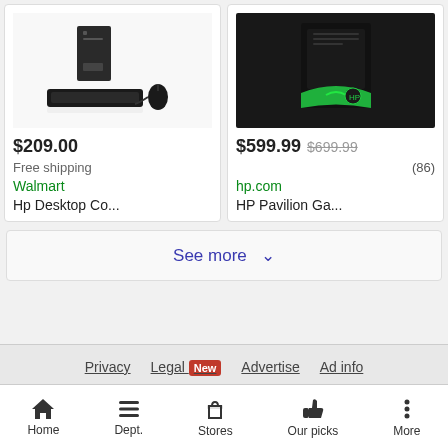[Figure (photo): HP Desktop computer with keyboard and mouse on white background]
$209.00
Free shipping
Walmart
Hp Desktop Co...
[Figure (photo): HP Pavilion Gaming desktop computer with green accent lighting on dark background]
$599.99 $699.99
(86)
hp.com
HP Pavilion Ga...
See more
Privacy  Legal New  Advertise  Ad info  Settings  Feedback
Home  Dept.  Stores  Our picks  More